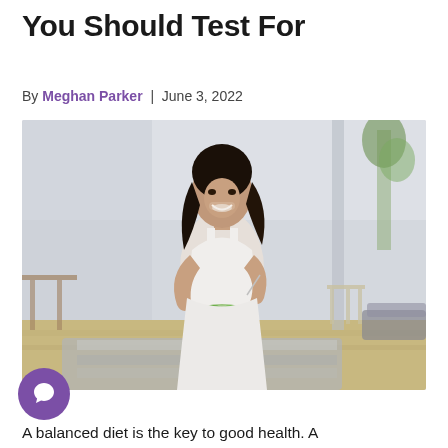Common Vitamin Deficiencies You Should Test For
By Meghan Parker | June 3, 2022
[Figure (photo): A smiling woman in white athletic wear sitting on a yoga mat on a hardwood floor, holding a white bowl of salad and eating from it with a fork, in a modern bright apartment interior.]
A balanced diet is the key to good health. A